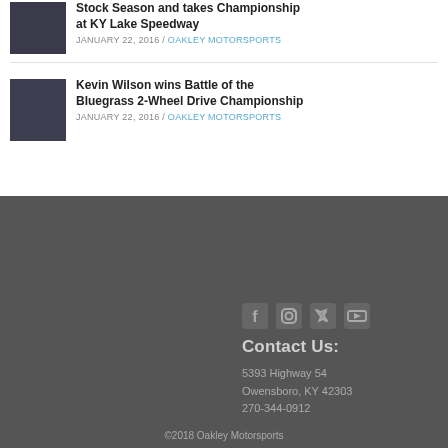Stock Season and takes Championship at KY Lake Speedway
JANUARY 22, 2016 / OAKLEY MOTORSPORTS
Kevin Wilson wins Battle of the Bluegrass 2-Wheel Drive Championship
JANUARY 22, 2016 / OAKLEY MOTORSPORTS
[Figure (photo): Thumbnail image for motorsports article]
[Figure (photo): Thumbnail image showing truck at motorsports event]
Contact Us:
5393 Highway 54
Owensboro, KY 42303
270-344-0912
©2018 Oakley Motorsports